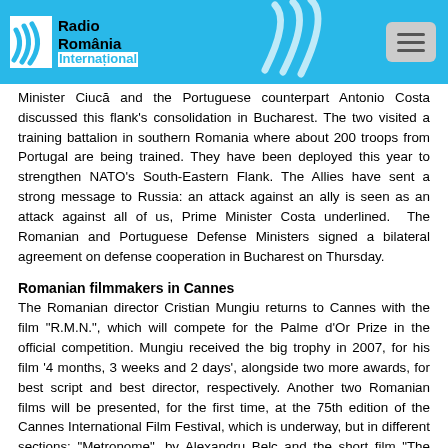Radio România International
Minister Ciucă and the Portuguese counterpart Antonio Costa discussed this flank's consolidation in Bucharest. The two visited a training battalion in southern Romania where about 200 troops from Portugal are being trained. They have been deployed this year to strengthen NATO's South-Eastern Flank. The Allies have sent a strong message to Russia: an attack against an ally is seen as an attack against all of us, Prime Minister Costa underlined. The Romanian and Portuguese Defense Ministers signed a bilateral agreement on defense cooperation in Bucharest on Thursday.
Romanian filmmakers in Cannes
The Romanian director Cristian Mungiu returns to Cannes with the film "R.M.N.", which will compete for the Palme d'Or Prize in the official competition. Mungiu received the big trophy in 2007, for his film '4 months, 3 weeks and 2 days', alongside two more awards, for best script and best director, respectively. Another two Romanian films will be presented, for the first time, at the 75th edition of the Cannes International Film Festival, which is underway, but in different sections: "Metronome", by Alexandru Belc and the short film "The Potemkinists", directed by Radu Jude. Also involved in this edition of the festival are the producer Diana Pāroiu and the actress Cosmina Stratan, who 10 years ago, received the best actress award for her performance in Mungiu's film 'Beyond the Hills'. (VP&LS)